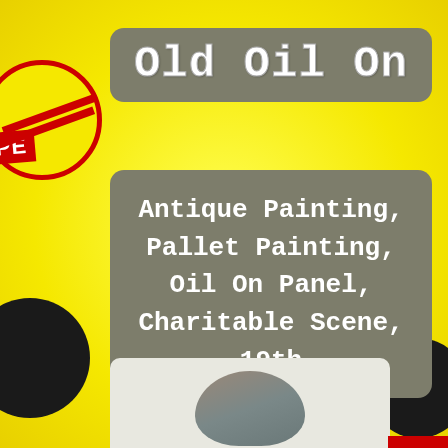Old Oil On
Antique Painting, Pallet Painting, Oil On Panel, Charitable Scene, 19th
[Figure (photo): Partial view of an antique painted panel showing a figure, displayed against a light background. Yellow background with red badge partially visible on left side.]